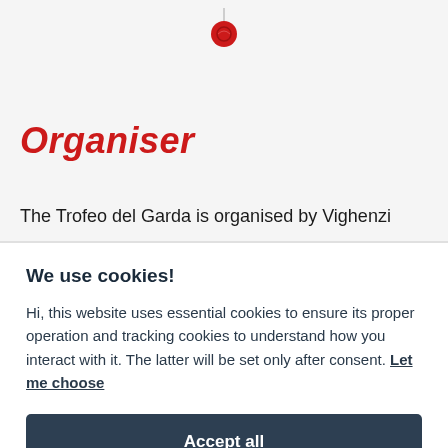[Figure (logo): Red circular logo/icon at top center]
Organiser
The Trofeo del Garda is organised by Vighenzi
We use cookies!
Hi, this website uses essential cookies to ensure its proper operation and tracking cookies to understand how you interact with it. The latter will be set only after consent. Let me choose
Accept all
Reject all